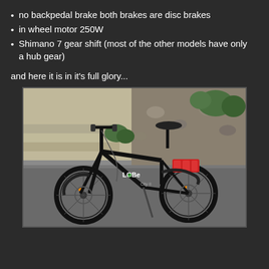no backpedal brake both brakes are disc brakes
in wheel motor 250W
Shimano 7 gear shift (most of the other models have only a hub gear)
and here it is in it's full glory...
[Figure (photo): A black folding electric bicycle (LOBe City II) parked on a sidewalk, showing disc brakes on both wheels, in-wheel motor, and a red battery pack mounted on the rear rack. Background shows stone steps and garden plantings.]